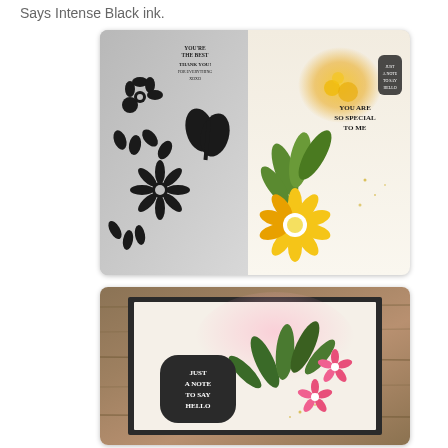Says Intense Black ink.
[Figure (photo): Two photos: top photo shows a clear stamp set with black floral and text stamps on the left half, and a handmade greeting card on the right with yellow flowers, green leaves, and gold ink splatter with sentiment 'YOU ARE SO SPECIAL TO ME'. Bottom photo shows a handmade card on a wood grain background featuring a dark oval label with white text 'JUST A NOTE TO SAY HELLO', green botanical leaves, and pink flowers.]